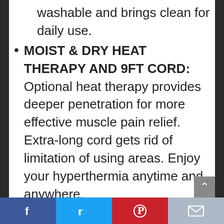washable and brings clean for daily use.
MOIST & DRY HEAT THERAPY AND 9FT CORD: Optional heat therapy provides deeper penetration for more effective muscle pain relief. Extra-long cord gets rid of limitation of using areas. Enjoy your hyperthermia anytime and anywhere.
SAFETY & ASSURANCE: Overheat protection and ETL certification issured safety and quality. 24 hours customer consultation service and
[Social bar: Facebook | Twitter | Pinterest | Email]